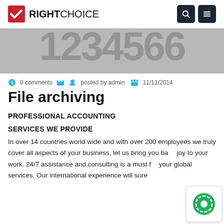RIGHT CHOICE
[Figure (photo): Hero image banner with large partially visible decorative text/numerals on grey background]
0 comments   posted by admin   11/11/2014
File archiving
PROFESSIONAL ACCOUNTING
SERVICES WE PROVIDE
In over 14 countries world wide and with over 200 employees we truly cover all aspects of your business, let us bring you back joy to your work. 24/7 assistance and consulting is a must for your global services. Our international experience will sure...